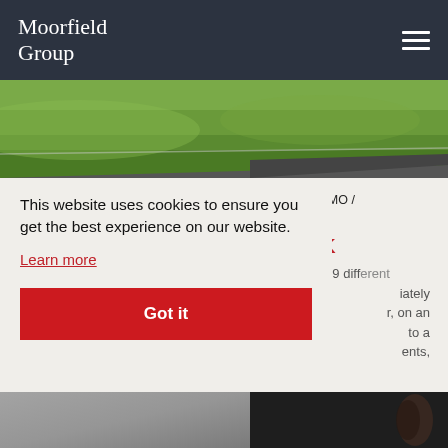Moorfield Group
[Figure (photo): Aerial or ground-level photo of grass and road/pathway, green lawn area]
Residential (Build to Rent / Existing Homes For Rent / HMO / Coliving)
Avant Show Home Portfolio, UK
A national portfolio of 77 show homes located across 29 different [sites, immediately available for sale, with a leaseback to a developer, with guaranteed rents,]
This website uses cookies to ensure you get the best experience on our website.
Learn more
Got it
[Figure (photo): Partial bottom image, dark background with ear/profile shape visible on right side]